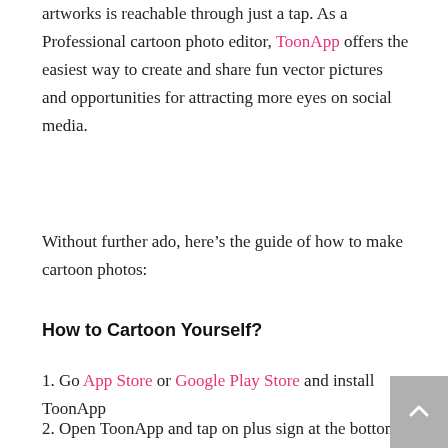artworks is reachable through just a tap. As a Professional cartoon photo editor, ToonApp offers the easiest way to create and share fun vector pictures and opportunities for attracting more eyes on social media.
Without further ado, here's the guide of how to make cartoon photos:
How to Cartoon Yourself?
1. Go to App Store or Google Play Store and install ToonApp
2. Open ToonApp and tap on plus sign at the bottom of